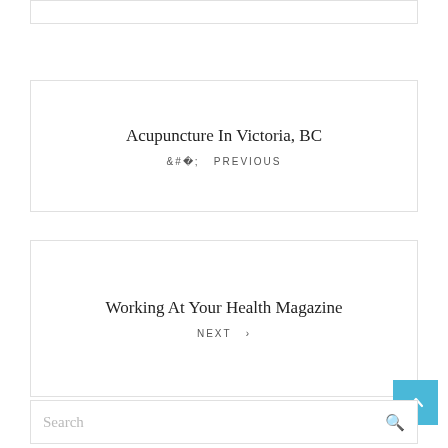Acupuncture In Victoria, BC
< PREVIOUS
Working At Your Health Magazine
NEXT >
Search